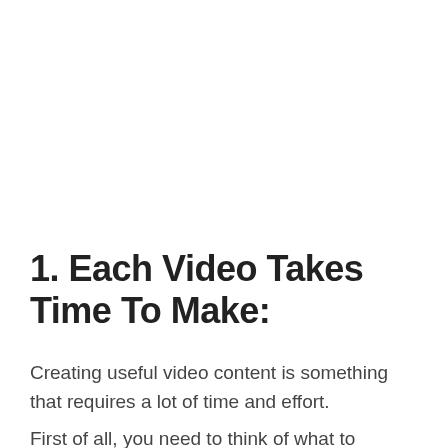1. Each Video Takes Time To Make:
Creating useful video content is something that requires a lot of time and effort.
First of all, you need to think of what to discuss in